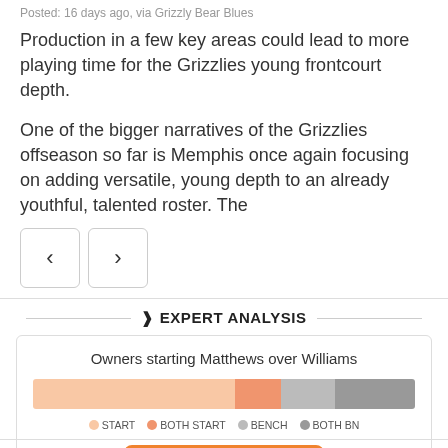Posted: 16 days ago, via Grizzly Bear Blues
Production in a few key areas could lead to more playing time for the Grizzlies young frontcourt depth.
One of the bigger narratives of the Grizzlies offseason so far is Memphis once again focusing on adding versatile, young depth to an already youthful, talented roster. The
❱ EXPERT ANALYSIS
Owners starting Matthews over Williams
[Figure (bar-chart): Owners starting Matthews over Williams]
UPGRADE NOW
Includes Detailed Projections